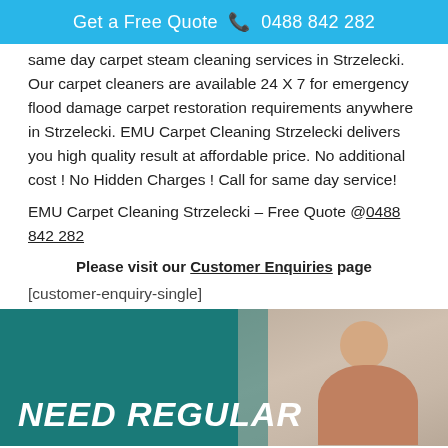Get a Free Quote  0488 842 282
same day carpet steam cleaning services in Strzelecki. Our carpet cleaners are available 24 X 7 for emergency flood damage carpet restoration requirements anywhere in Strzelecki. EMU Carpet Cleaning Strzelecki delivers you high quality result at affordable price. No additional cost ! No Hidden Charges ! Call for same day service!
EMU Carpet Cleaning Strzelecki – Free Quote @0488 842 282
Please visit our Customer Enquiries page
[customer-enquiry-single]
[Figure (photo): Banner image with teal background showing text 'NEED REGULAR' in large bold italic white letters, with a partial photo of a woman on the right side]